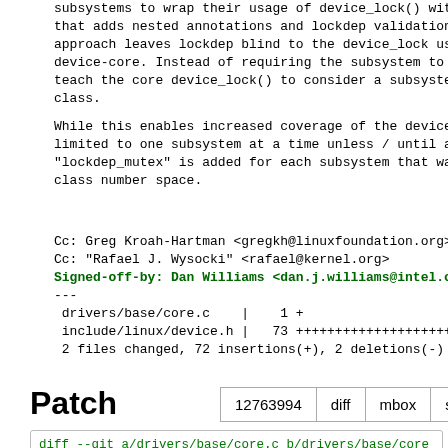subsystems to wrap their usage of device_lock() with
that adds nested annotations and lockdep validation.
approach leaves lockdep blind to the device_lock usage
device-core. Instead of requiring the subsystem to re
teach the core device_lock() to consider a subsystem
class.
While this enables increased coverage of the device_l
limited to one subsystem at a time unless / until a m
"lockdep_mutex" is added for each subsystem that want
class number space.
Cc: Greg Kroah-Hartman <gregkh@linuxfoundation.org>
Cc: "Rafael J. Wysocki" <rafael@kernel.org>
Signed-off-by: Dan Williams <dan.j.williams@intel.com>
---
 drivers/base/core.c    |    1 +
 include/linux/device.h |   73 ++++++++++++++++++++++
 2 files changed, 72 insertions(+), 2 deletions(-)
Patch
12763994   diff   mbox   series
diff --git a/drivers/base/core.c b/drivers/base/core
index 7bb957b11861..96430fa5152e 100644
--- a/drivers/base/core.c
+++ b/drivers/base/core.c
@@ -2866,6 +2866,7 @@  void device_initialize(struct
        mutex_init(&dev->mutex);
 #ifdef CONFG_PROVE_LOCKING